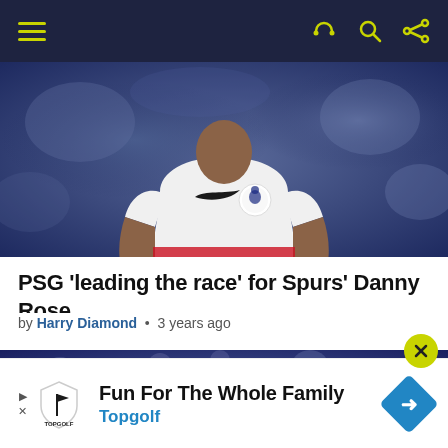Navigation bar with hamburger menu and icons
[Figure (photo): A Tottenham Hotspur football player wearing white Nike jersey with Spurs badge, running on pitch, blurred stadium background]
PSG 'leading the race' for Spurs' Danny Rose
by Harry Diamond • 3 years ago
[Figure (photo): A man with fists raised in celebration, stadium setting, blurred bokeh background]
Fun For The Whole Family Topgolf